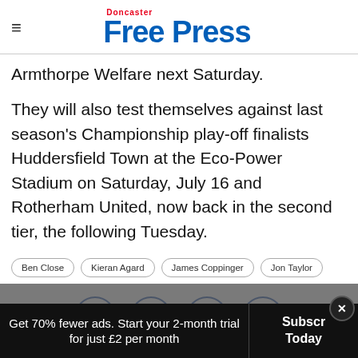Doncaster Free Press
Armthorpe Welfare next Saturday.
They will also test themselves against last season's Championship play-off finalists Huddersfield Town at the Eco-Power Stadium on Saturday, July 16 and Rotherham United, now back in the second tier, the following Tuesday.
Ben Close
Kieran Agard
James Coppinger
Jon Taylor
[Figure (infographic): Social sharing icons: Facebook, Twitter, WhatsApp, Email in circles on grey background]
Get 70% fewer ads. Start your 2-month trial for just £2 per month
Subscribe Today